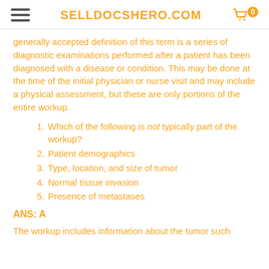SELLDOCSHERO.COM
generally accepted definition of this term is a series of diagnostic examinations performed after a patient has been diagnosed with a disease or condition. This may be done at the time of the initial physician or nurse visit and may include a physical assessment, but these are only portions of the entire workup.
Which of the following is not typically part of the workup?
Patient demographics
Type, location, and size of tumor
Normal tissue invasion
Presence of metastases
ANS: A
The workup includes information about the tumor such